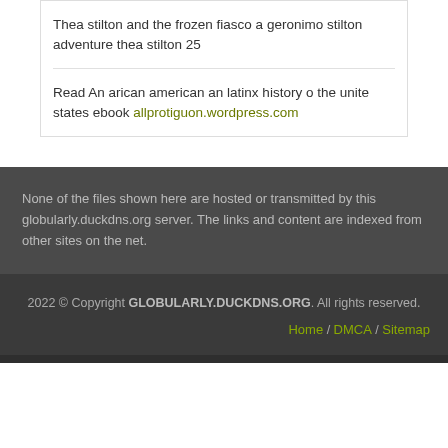Thea stilton and the frozen fiasco a geronimo stilton adventure thea stilton 25
Read An arican american an latinx history o the unite states ebook allprotiguon.wordpress.com
None of the files shown here are hosted or transmitted by this globularly.duckdns.org server. The links and content are indexed from other sites on the net.
2022 © Copyright GLOBULARLY.DUCKDNS.ORG. All rights reserved. Home / DMCA / Sitemap